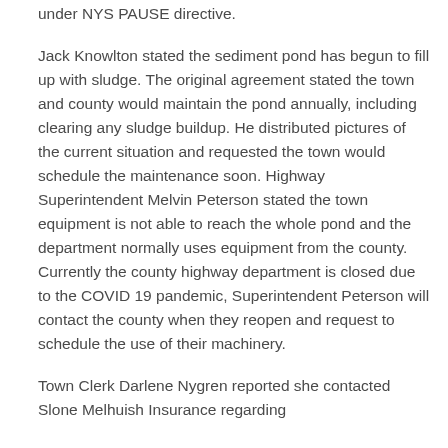under NYS PAUSE directive.
Jack Knowlton stated the sediment pond has begun to fill up with sludge. The original agreement stated the town and county would maintain the pond annually, including clearing any sludge buildup. He distributed pictures of the current situation and requested the town would schedule the maintenance soon. Highway Superintendent Melvin Peterson stated the town equipment is not able to reach the whole pond and the department normally uses equipment from the county. Currently the county highway department is closed due to the COVID 19 pandemic, Superintendent Peterson will contact the county when they reopen and request to schedule the use of their machinery.
Town Clerk Darlene Nygren reported she contacted Slone Melhuish Insurance regarding